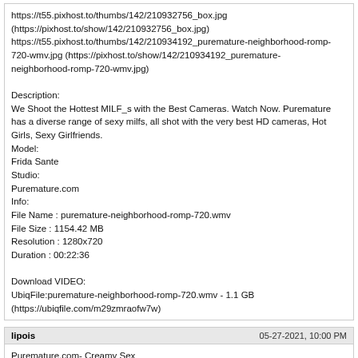https://t55.pixhost.to/thumbs/142/210932756_box.jpg (https://pixhost.to/show/142/210932756_box.jpg)
https://t55.pixhost.to/thumbs/142/210934192_puremature-neighborhood-romp-720-wmv.jpg (https://pixhost.to/show/142/210934192_puremature-neighborhood-romp-720-wmv.jpg)

Description:
We Shoot the Hottest MILF_s with the Best Cameras. Watch Now. Puremature has a diverse range of sexy milfs, all shot with the very best HD cameras, Hot Girls, Sexy Girlfriends.
Model:
Frida Sante
Studio:
Puremature.com
Info:
File Name : puremature-neighborhood-romp-720.wmv
File Size : 1154.42 MB
Resolution : 1280x720
Duration : 00:22:36

Download VIDEO:
UbiqFile:puremature-neighborhood-romp-720.wmv - 1.1 GB (https://ubiqfile.com/m29zmraofw7w)
lipois	05-27-2021, 10:00 PM
Puremature.com- Creamy Sex
https://t55.pixhost.to/thumbs/134/210684710_box.jpg (https://pixhost.to/show/134/210684710_box.jpg)
https://t55.pixhost.to/thumbs/134/210685575_puremature-creamy-sex-750-mp4.jpg (https://pixhost.to/show/134/210685575_puremature-creamy-sex-750-mp4.jpg)

Description:
We Shoot the Hottest MILF_s with the Best Cameras. Watch Now. Puremature has a diverse range of sexy milfs, all shot with the very best HD cameras, Hot Girls, Sexy Girlfriends.